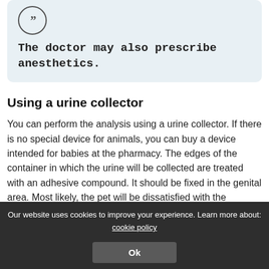The doctor may also prescribe anesthetics.
Using a urine collector
You can perform the analysis using a urine collector. If there is no special device for animals, you can buy a device intended for babies at the pharmacy. The edges of the container in which the urine will be collected are treated with an adhesive compound. It should be fixed in the genital area. Most likely, the pet will be dissatisfied with the presence of a foreign object on the body, and
Our website uses cookies to improve your experience. Learn more about: cookie policy
Ok